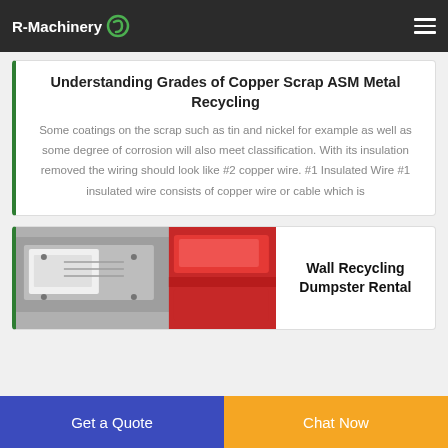R-Machinery
Understanding Grades of Copper Scrap ASM Metal Recycling
Some coatings on the scrap such as tin and nickel for example as well as some degree of corrosion will also meet classification. With its insulation removed the wiring should look like #2 copper wire. #1 Insulated Wire #1 insulated wire consists of copper wire or cable which is
[Figure (photo): Photo of industrial recycling machinery with red and grey metal components]
Wall Recycling Dumpster Rental
Get a Quote
Chat Now